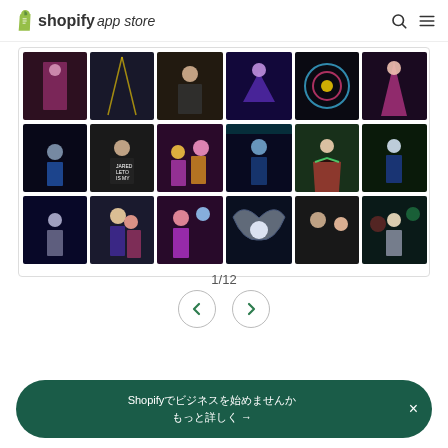Shopify App Store
[Figure (photo): Grid of 18 performance/entertainment photos in 3 rows of 6, showing costumed performers, LED light shows, and entertainment acts]
1/12
[Figure (other): Navigation buttons: left arrow and right arrow in circular outlines]
Shopify でビジネスを始めませんか → ×